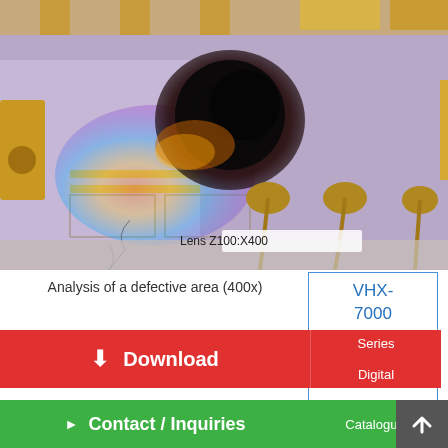[Figure (photo): Microscope image of a defective area on an electronic circuit board/chip at 400x magnification. Shows burn/melt damage with dark carbonized area, surrounding iridescent coloring, gold-colored bond wires and pads. Label 'Lens Z100:X400' visible at bottom center of image.]
Analysis of a defective area (400x)
[Figure (other): VHX-7000 Series Digital Microscope Catalogue sidebar/overlay link with blue text]
Download
Contact / Inquiries